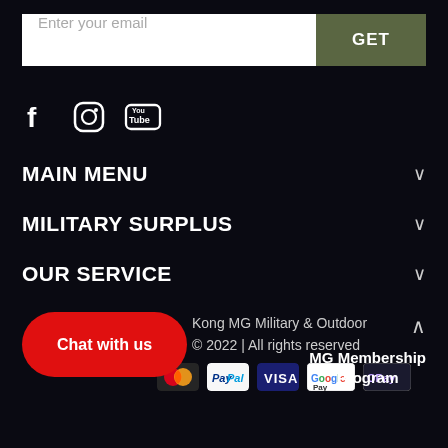[Figure (other): Email input field with placeholder 'Enter your email' and a dark olive green 'GET' button]
[Figure (other): Social media icons: Facebook, Instagram, YouTube]
MAIN MENU
MILITARY SURPLUS
OUR SERVICE
Kong MG Military & Outdoor
© 2022 | All rights reserved
[Figure (other): Red rounded button labeled 'Chat with us']
MG Membership Program
[Figure (other): Payment method icons: Mastercard, PayPal, Visa, Google Pay, OPay]